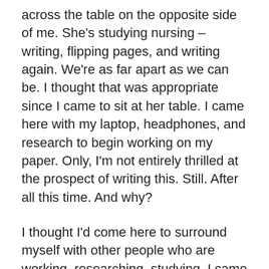across the table on the opposite side of me. She's studying nursing – writing, flipping pages, and writing again. We're as far apart as we can be. I thought that was appropriate since I came to sit at her table. I came here with my laptop, headphones, and research to begin working on my paper. Only, I'm not entirely thrilled at the prospect of writing this. Still. After all this time. And why?
I thought I'd come here to surround myself with other people who are working, researching, studying. I came with the hope that their attitudes and mindsets might rub off on me. It's helpful to be surrounded with like-minded people. Reminds me of my first experience